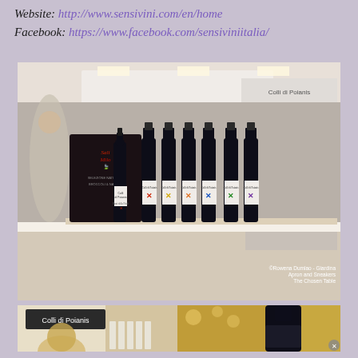Website: http://www.sensivini.com/en/home
Facebook: https://www.facebook.com/sensiviniitalia/
[Figure (photo): Exhibition booth displaying multiple dark wine bottles with colorful cross/X labels (Colli di Poianis), next to a black promotional display. Bottles have varied colored labels: red, yellow, orange, blue, green, purple. Background shows a wine trade fair setting. Photo credit: ©Rowena Dumlao - Giardina, Apron and Sneakers, The Chosen Table.]
[Figure (photo): Bottom portion showing a wine booth with 'Colli di Poianis' signage, light-colored wine bottles on shelves, a person with blond hair, and a close-up of a dark wine bottle.]